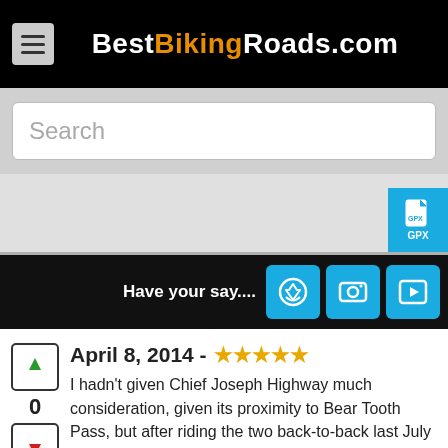BestBikingRoads.com
Search
[Figure (screenshot): GPX download button (blue)]
Have your say....
April 8, 2014 - ★★★★★
I hadn't given Chief Joseph Highway much consideration, given its proximity to Bear Tooth Pass, but after riding the two back-to-back last July I have a real appreciation for its